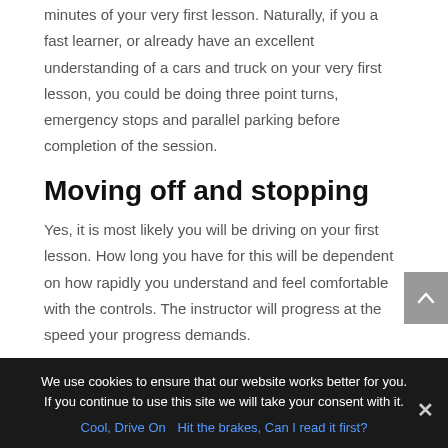minutes of your very first lesson. Naturally, if you a fast learner, or already have an excellent understanding of a cars and truck on your very first lesson, you could be doing three point turns, emergency stops and parallel parking before completion of the session.
Moving off and stopping
Yes, it is most likely you will be driving on your first lesson. How long you have for this will be dependent on how rapidly you understand and feel comfortable with the controls. The instructor will progress at the speed your progress demands.
We use cookies to ensure that our website works better for you. If you continue to use this site we will take your consent with it.
Cool, Drive On   Hit the brakes, Can I read it first?